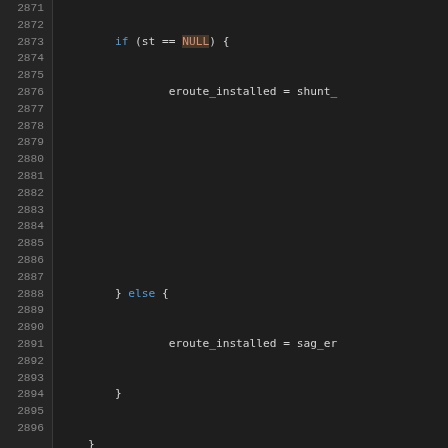[Figure (screenshot): Source code viewer showing C code lines 2871-2896 with syntax highlighting on dark background. Line numbers on left, code with colored keywords (blue for control flow, green for comments, orange/red for highlighted keywords like bool, false, NULL).]